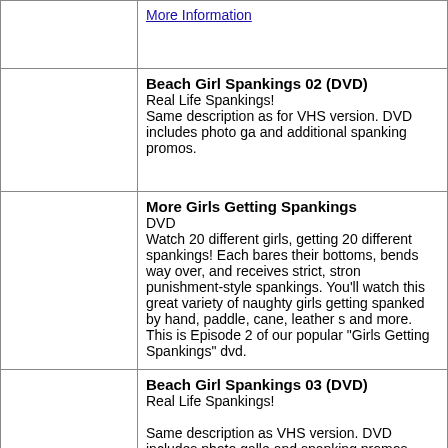|  | More Information |
|  | Beach Girl Spankings 02 (DVD)
Real Life Spankings!
Same description as for VHS version. DVD includes photo ga and additional spanking promos. |
|  | More Girls Getting Spankings
DVD
Watch 20 different girls, getting 20 different spankings! Each bares their bottoms, bends way over, and receives strict, stron punishment-style spankings. You'll watch this great variety of naughty girls getting spanked by hand, paddle, cane, leather s and more. This is Episode 2 of our popular "Girls Getting Spankings" dvd. |
|  | Beach Girl Spankings 03 (DVD)
Real Life Spankings!

Same description as VHS version. DVD includes photo galle and spanking promos. |
|  | Real Over-The-Knee SPANKINGS
DVD
They get their skirts raised, and their panties lowered. Then, they're dragged over the knee for nice, long, butt warmings fr the bare hand! It's a real effective way to correct any young la and you'll be able to watch many of these cute girls get the pr |